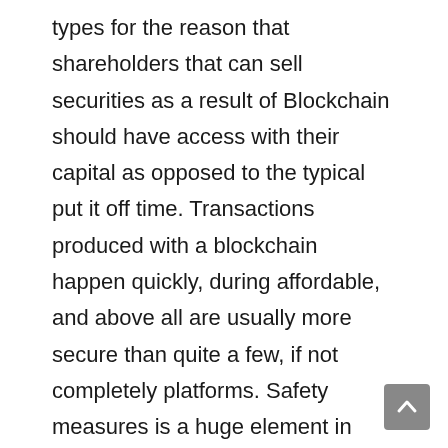types for the reason that shareholders that can sell securities as a result of Blockchain should have access with their capital as opposed to the typical put it off time. Transactions produced with a blockchain happen quickly, during affordable, and above all are usually more secure than quite a few, if not completely platforms. Safety measures is a huge element in Blockchain modifying the modern world as we know it. Because of its design and style, Blockchain is simply unhackable. The orders ledgers are generally decentralized, this means illegal copies of the people transactions are present plus must be verified by way of nodes. As soon as a financial transaction will be proved, it can be "sealed" to a block and also transforming it truly is